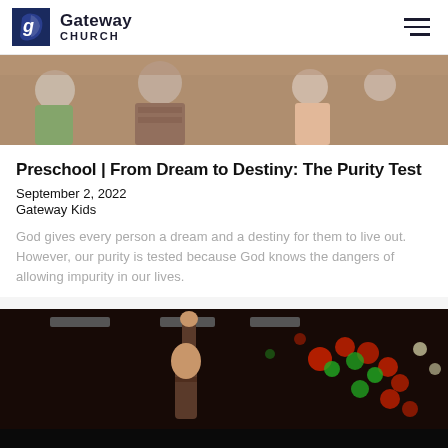Gateway Church
[Figure (photo): Children sitting in rows, viewed from behind/side, at a church event or service]
Preschool | From Dream to Destiny: The Purity Test
September 2, 2022
Gateway Kids
God gives every person a dream and a destiny for them to live out. However, our purity is tested because God knows the dangers of allowing impurity in our lives.
[Figure (photo): Child with arm raised in a dark venue with colorful bokeh lights in the background forming a heart shape]